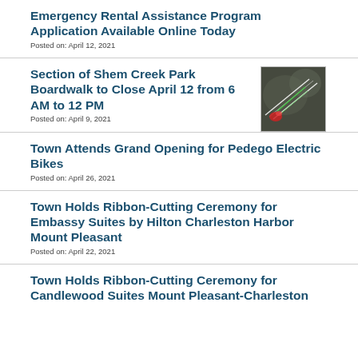Emergency Rental Assistance Program Application Available Online Today
Posted on: April 12, 2021
Section of Shem Creek Park Boardwalk to Close April 12 from 6 AM to 12 PM
Posted on: April 9, 2021
[Figure (photo): Aerial map view of Shem Creek Park area showing path/boardwalk overlay with red and green markings]
Town Attends Grand Opening for Pedego Electric Bikes
Posted on: April 26, 2021
Town Holds Ribbon-Cutting Ceremony for Embassy Suites by Hilton Charleston Harbor Mount Pleasant
Posted on: April 22, 2021
Town Holds Ribbon-Cutting Ceremony for Candlewood Suites Mount Pleasant-Charleston